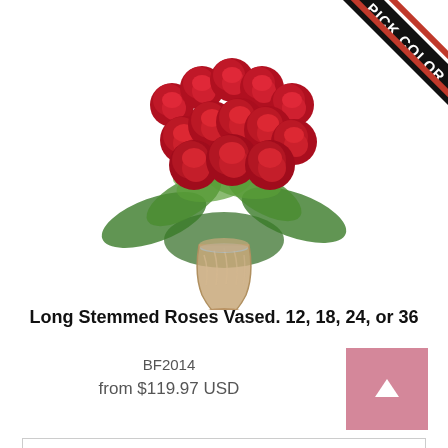[Figure (photo): A bouquet of red long-stemmed roses in a clear glass vase with green foliage. A black diagonal 'PICK COLOR' ribbon badge is shown in the top-right corner.]
Long Stemmed Roses Vased. 12, 18, 24, or 36
BF2014
from $119.97 USD
Order Now
[Figure (photo): Partial view of a mixed flower bouquet at the bottom of the page.]